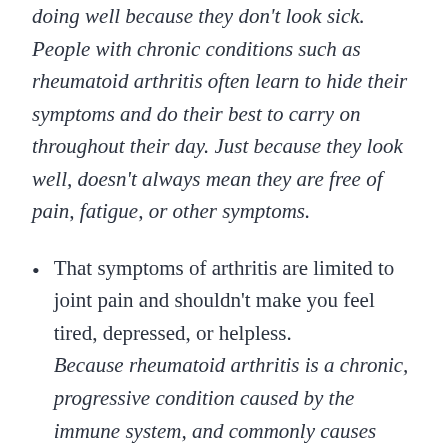doing well because they don't look sick. People with chronic conditions such as rheumatoid arthritis often learn to hide their symptoms and do their best to carry on throughout their day. Just because they look well, doesn't always mean they are free of pain, fatigue, or other symptoms.
That symptoms of arthritis are limited to joint pain and shouldn't make you feel tired, depressed, or helpless. Because rheumatoid arthritis is a chronic, progressive condition caused by the immune system, and commonly causes more